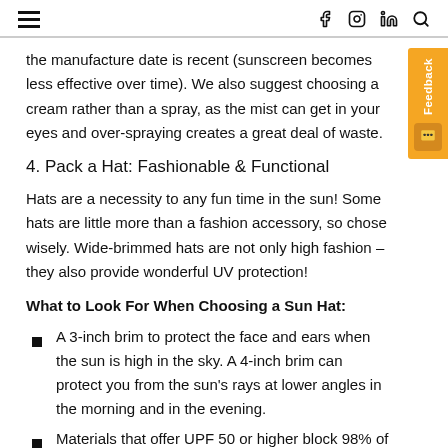≡   f  in  🔍
the manufacture date is recent (sunscreen becomes less effective over time). We also suggest choosing a cream rather than a spray, as the mist can get in your eyes and over-spraying creates a great deal of waste.
4. Pack a Hat: Fashionable & Functional
Hats are a necessity to any fun time in the sun! Some hats are little more than a fashion accessory, so chose wisely. Wide-brimmed hats are not only high fashion – they also provide wonderful UV protection!
What to Look For When Choosing a Sun Hat:
A 3-inch brim to protect the face and ears when the sun is high in the sky. A 4-inch brim can protect you from the sun's rays at lower angles in the morning and in the evening.
Materials that offer UPF 50 or higher block 98% of the damaging